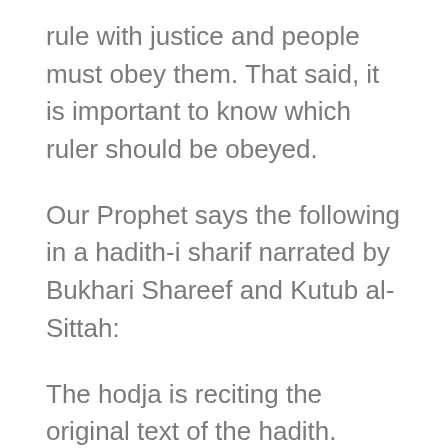rule with justice and people must obey them. That said, it is important to know which ruler should be obeyed.
Our Prophet says the following in a hadith-i sharif narrated by Bukhari Shareef and Kutub al-Sittah:
The hodja is reciting the original text of the hadith.
“There is no obedience to any living creature in regards to rebelling Allah.”